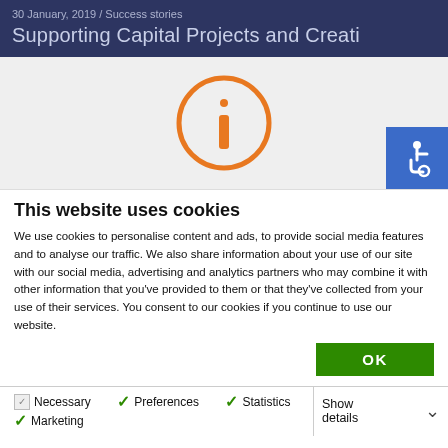30 January, 2019 / Success stories
Supporting Capital Projects and Creati
[Figure (screenshot): Website screenshot area showing a cookie consent overlay with an orange information icon circle on a light gray background, and a blue accessibility icon badge in the bottom-right corner.]
This website uses cookies
We use cookies to personalise content and ads, to provide social media features and to analyse our traffic. We also share information about your use of our site with our social media, advertising and analytics partners who may combine it with other information that you've provided to them or that they've collected from your use of their services. You consent to our cookies if you continue to use our website.
OK
| Necessary | Preferences | Statistics | Show details |
| Marketing |  |  |  |